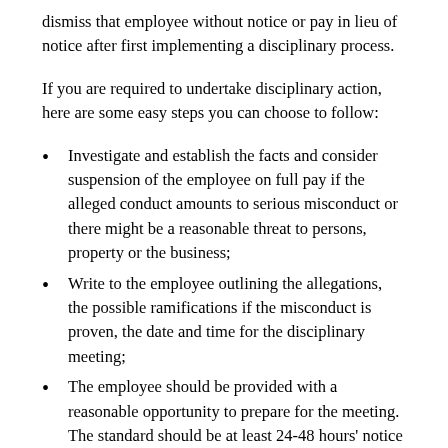dismiss that employee without notice or pay in lieu of notice after first implementing a disciplinary process.
If you are required to undertake disciplinary action, here are some easy steps you can choose to follow:
Investigate and establish the facts and consider suspension of the employee on full pay if the alleged conduct amounts to serious misconduct or there might be a reasonable threat to persons, property or the business;
Write to the employee outlining the allegations, the possible ramifications if the misconduct is proven, the date and time for the disciplinary meeting;
The employee should be provided with a reasonable opportunity to prepare for the meeting. The standard should be at least 24-48 hours' notice of the meeting;
The meeting is the employee's opportunity to